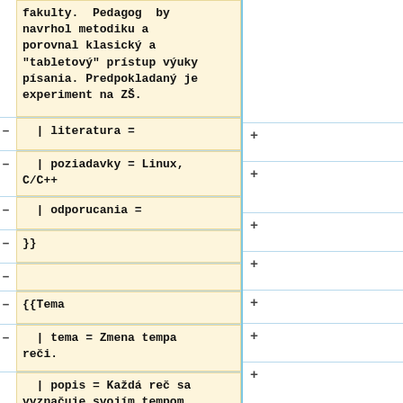fakulty. Pedagog by navrhol metodiku a porovnal klasický a "tabletový" prístup výuky písania. Predpokladaný je experiment na ZŠ.
| literatura =
| poziadavky = Linux, C/C++
| odporucania =
}}
{{Tema
| tema = Zmena tempa reči.
| popis = Každá reč sa vyznačuje svojím tempom. Najlepšie je reprezentované počtom slabík za sekundu.